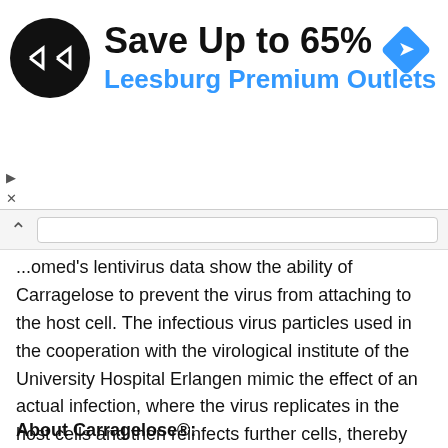[Figure (advertisement): Ad banner: Save Up to 65% Leesburg Premium Outlets with a black circular logo with arrows and a blue diamond navigation icon]
...omed's lentivirus data show the ability of Carragelose to prevent the virus from attaching to the host cell. The infectious virus particles used in the cooperation with the virological institute of the University Hospital Erlangen mimic the effect of an actual infection, where the virus replicates in the host cells and then reinfects further cells, thereby spreading the infection in the body. Both are established and scientifically widely accepted models. Taken together, the data show how Carragelose can effectively inhibit SARS-CoV-2 variants in tissue culture. The cooperation partners plan to publish the data in a peer reviewed journal.
About Carragelose®: